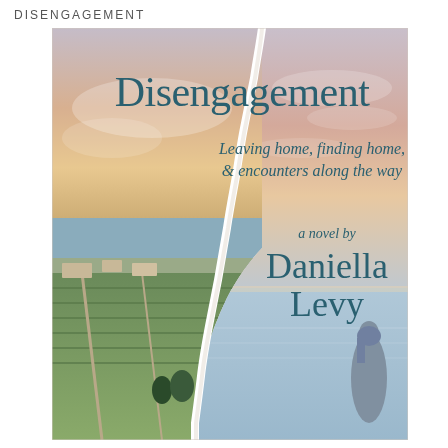DISENGAGEMENT
[Figure (illustration): Book cover for 'Disengagement' by Daniella Levy. The cover shows a split image: on the left, an aerial view of agricultural fields and a small town near a coastline with a sunset sky; on the right, a calm sea at sunset with a silhouette of a woman standing and looking out. A torn-paper effect divides the two scenes. The title 'Disengagement' appears in large teal serif font at the top, followed by the italic subtitle 'Leaving home, finding home, & encounters along the way', then 'a novel by' in smaller italic teal, and 'Daniella Levy' in large teal serif font at the bottom right.]